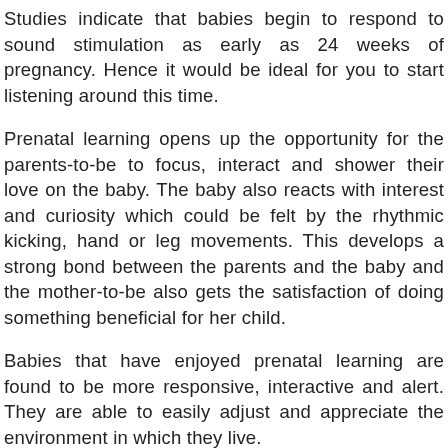Studies indicate that babies begin to respond to sound stimulation as early as 24 weeks of pregnancy. Hence it would be ideal for you to start listening around this time.
Prenatal learning opens up the opportunity for the parents-to-be to focus, interact and shower their love on the baby. The baby also reacts with interest and curiosity which could be felt by the rhythmic kicking, hand or leg movements. This develops a strong bond between the parents and the baby and the mother-to-be also gets the satisfaction of doing something beneficial for her child.
Babies that have enjoyed prenatal learning are found to be more responsive, interactive and alert. They are able to easily adjust and appreciate the environment in which they live.